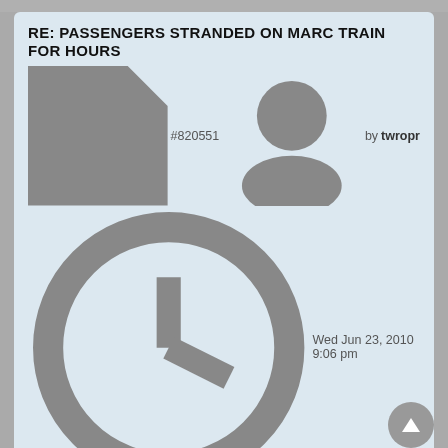RE: PASSENGERS STRANDED ON MARC TRAIN FOR HOURS
#820551 by twropr
Wed Jun 23, 2010 9:06 pm
Anyone know the engine number? Wonder if it might be the same one that broke down pulling train #538 on June 4?

Andy
RE: PASSENGERS STRANDED ON MARC TRAIN FOR HOURS
#820572 by BuddSilverliner269
Wed Jun 23, 2010 10:52 pm
Ron, you never cease to amaze me. Almost everyone who has chimed in here has no railroading experience whatsoever. The HHP locomotive was disabled and its pantagraph dropped. No power, no ac. The train was disabled about 2 miles south of